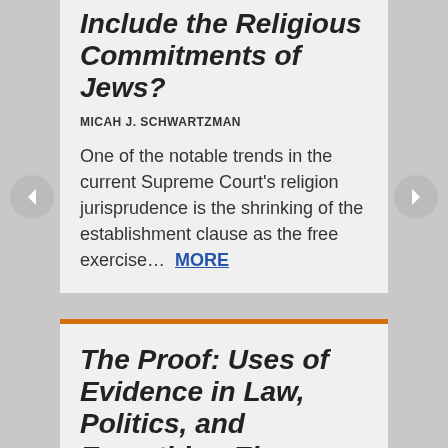Include the Religious Commitments of Jews?
MICAH J. SCHWARTZMAN
One of the notable trends in the current Supreme Court's religion jurisprudence is the shrinking of the establishment clause as the free exercise… MORE
The Proof: Uses of Evidence in Law, Politics, and Everything Else